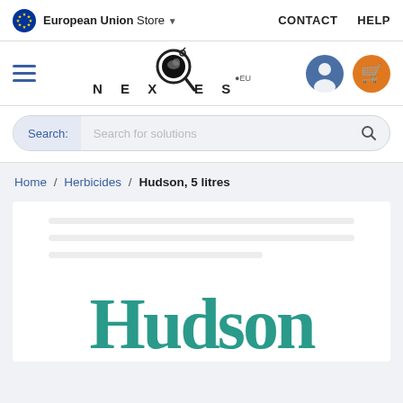European Union Store ▼    CONTACT    HELP
[Figure (logo): NEXLES.EU logo with magnifying glass icon, hamburger menu, user icon, and cart icon]
Search: Search for solutions
Home / Herbicides / Hudson, 5 litres
[Figure (photo): Hudson product image area showing the word Hudson in large teal serif font]